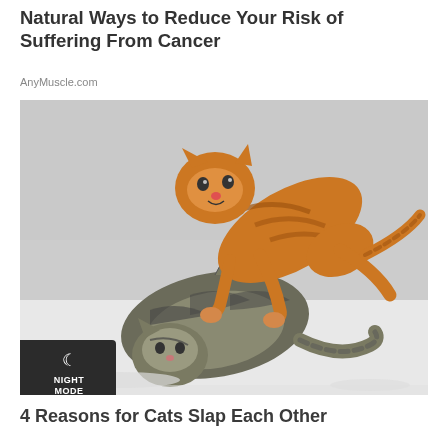Natural Ways to Reduce Your Risk of Suffering From Cancer
AnyMuscle.com
[Figure (photo): Two cats fighting in snow — an orange tabby cat leaping on top of a striped tabby cat that is lying on its back with paws raised]
4 Reasons for Cats Slap Each Other